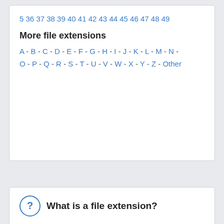5 36 37 38 39 40 41 42 43 44 45 46 47 48 49
More file extensions
A - B - C - D - E - F - G - H - I - J - K - L - M - N - O - P - Q - R - S - T - U - V - W - X - Y - Z - Other
What is a file extension?
A file extension is the characters after the last dot in a file name. For example, in the file name 'myfile.dat', the file extension is dat. It helps Windows select the right program